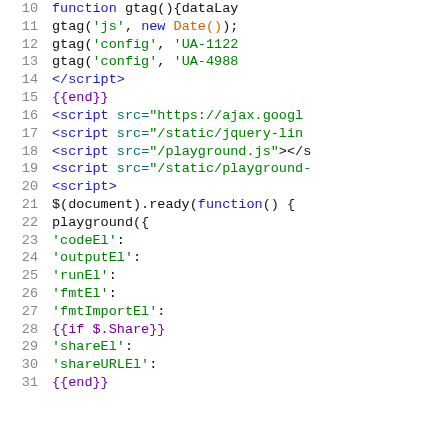[Figure (screenshot): Code editor screenshot showing lines 10-31 of a Go HTML template file with syntax highlighting. Lines show JavaScript gtag and jQuery playground initialization code with template directives.]